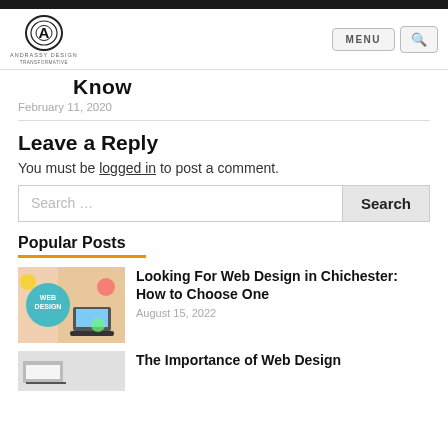[Figure (logo): Andrassy Design logo — circular monogram with letter A]
know
February 11, 2020
Leave a Reply
You must be logged in to post a comment.
Search ...
Popular Posts
[Figure (photo): Web design themed image with colorful stickers including a WEB DESIGN badge and laptop]
Looking For Web Design in Chichester: How to Choose One
August 15, 2022
[Figure (photo): Partial thumbnail for second popular post]
The Importance of Web Design